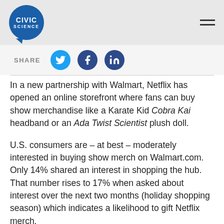[Figure (logo): CivicScience logo: dark blue speech bubble circle with CIVIC SCIENCE text in white]
[Figure (infographic): Share bar with Twitter, Facebook, and LinkedIn social icons and SHARE label]
In a new partnership with Walmart, Netflix has opened an online storefront where fans can buy show merchandise like a Karate Kid Cobra Kai headband or an Ada Twist Scientist plush doll.
U.S. consumers are – at best – moderately interested in buying show merch on Walmart.com. Only 14% shared an interest in shopping the hub. That number rises to 17% when asked about interest over the next two months (holiday shopping season) which indicates a likelihood to gift Netflix merch.